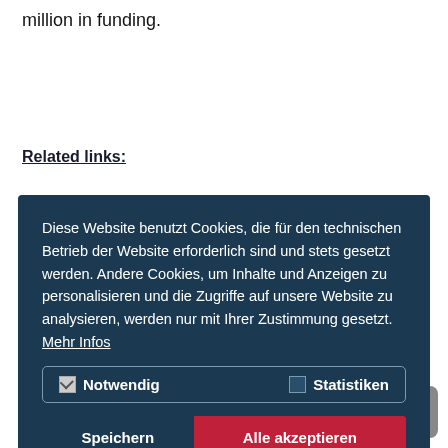million in funding.
Related links:
[Figure (screenshot): Cookie consent dialog overlay on a dark navy background. Contains German text about cookies, checkboxes for 'Notwendig' and 'Statistiken', and two buttons: 'Speichern' and 'Alle akzeptieren'.]